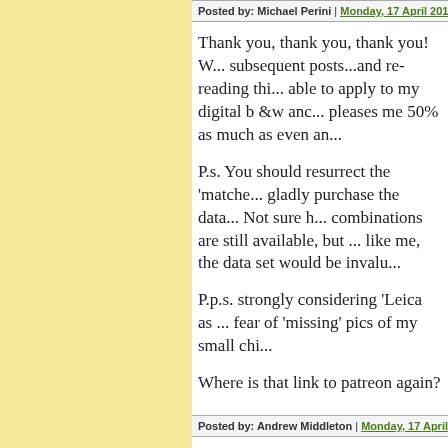Posted by: Michael Perini | Monday, 17 April 2017 at 0...
Thank you, thank you, thank you! W... subsequent posts...and re-reading thi... able to apply to my digital b &w anc... pleases me 50% as much as even an...
P.s. You should resurrect the 'matche... gladly purchase the data... Not sure h... combinations are still available, but ... like me, the data set would be invalu...
P.p.s. strongly considering 'Leica as ... fear of 'missing' pics of my small chi...
Where is that link to patreon again?
Posted by: Andrew Middleton | Monday, 17 April 2017...
I hope when this discussion is compl... ation...